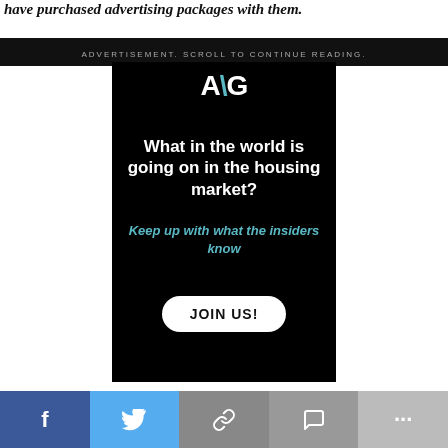have purchased advertising packages with them.
ADVERTISEMENT. SCROLL TO CONTINUE READING.
[Figure (illustration): Advertisement for a housing market newsletter service. Black background with white logo 'A\u0026G' at top, bold white headline 'What in the world is going on in the housing market?', teal italic text 'Keep up with what the insiders know', and a white rounded button 'JOIN US!']
[Figure (infographic): Social sharing bar at bottom with five buttons: Facebook (blue), Twitter (light blue), Link/chain (gray), Message/comment (gray), and More/ellipsis (light gray)]